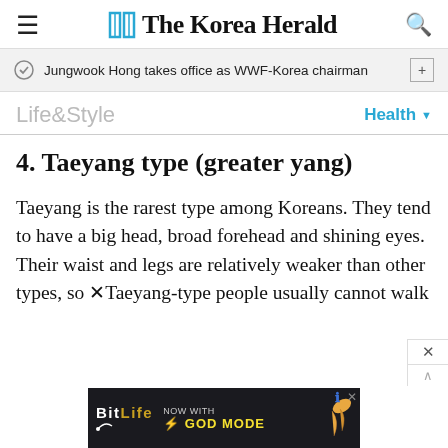The Korea Herald
Jungwook Hong takes office as WWF-Korea chairman
Life&Style
Health
4. Taeyang type (greater yang)
Taeyang is the rarest type among Koreans. They tend to have a big head, broad forehead and shining eyes. Their waist and legs are relatively weaker than other types, so Taeyang-type people usually cannot walk or
[Figure (screenshot): BitLife advertisement banner showing 'NOW WITH GOD MODE' with lightning bolt graphic and pointing hand illustration]